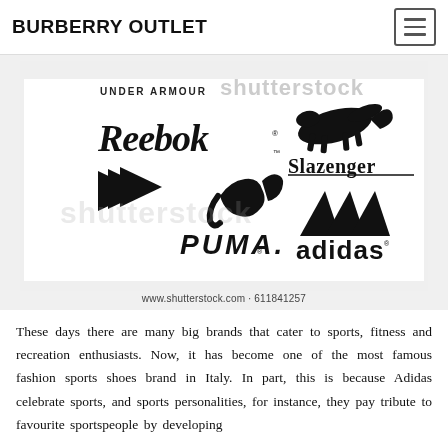BURBERRY OUTLET
[Figure (illustration): Collection of sports brand logos: Under Armour, Reebok, Slazenger, Puma, Adidas on a white background with Shutterstock watermark. Caption text: www.shutterstock.com · 611841257]
These days there are many big brands that cater to sports, fitness and recreation enthusiasts. Now, it has become one of the most famous fashion sports shoes brand in Italy. In part, this is because Adidas celebrate sports, and sports personalities, for instance, they pay tribute to favourite sportspeople by developing